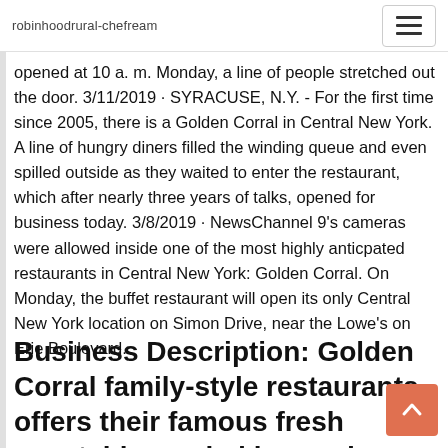robinhoodrural-chefream
opened at 10 a. m. Monday, a line of people stretched out the door. 3/11/2019 · SYRACUSE, N.Y. - For the first time since 2005, there is a Golden Corral in Central New York. A line of hungry diners filled the winding queue and even spilled outside as they waited to enter the restaurant, which after nearly three years of talks, opened for business today. 3/8/2019 · NewsChannel 9's cameras were allowed inside one of the most highly anticpated restaurants in Central New York: Golden Corral. On Monday, the buffet restaurant will open its only Central New York location on Simon Drive, near the Lowe's on Erie Boulevard.
Business Description: Golden Corral family-style restaurants offers their famous fresh vegetables, salad bar and a